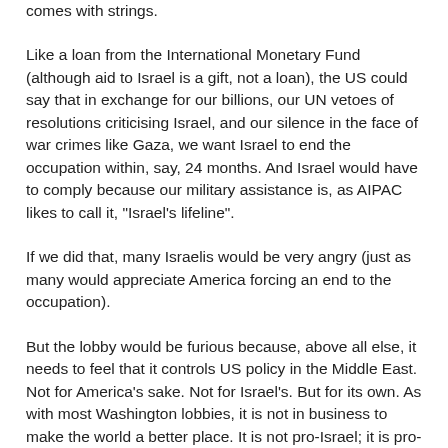comes with strings.
Like a loan from the International Monetary Fund (although aid to Israel is a gift, not a loan), the US could say that in exchange for our billions, our UN vetoes of resolutions criticising Israel, and our silence in the face of war crimes like Gaza, we want Israel to end the occupation within, say, 24 months. And Israel would have to comply because our military assistance is, as AIPAC likes to call it, "Israel's lifeline".
If we did that, many Israelis would be very angry (just as many would appreciate America forcing an end to the occupation).
But the lobby would be furious because, above all else, it needs to feel that it controls US policy in the Middle East. Not for America's sake. Not for Israel's. But for its own. As with most Washington lobbies, it is not in business to make the world a better place. It is not pro-Israel; it is pro-AIPAC.
When will all this change? Who knows?